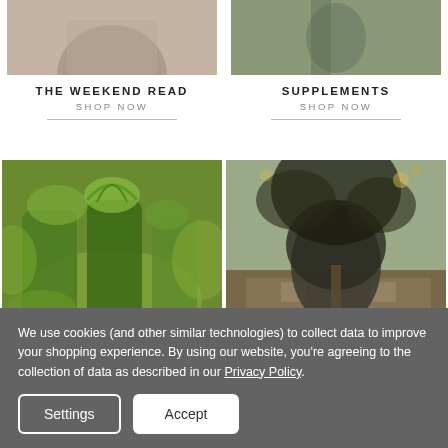[Figure (photo): Top-left partial photo (cropped person/product image)]
[Figure (photo): Top-right partial photo (supplements/food on spoon)]
THE WEEKEND READ
SHOP NOW
SUPPLEMENTS
SHOP NOW
[Figure (photo): Green smoothies in mason jars with herbs and vegetables]
[Figure (photo): Large tree growing from an open book with magical lighting]
HEALTH WITH SHABIR
GARDEN OF WISDOM
We use cookies (and other similar technologies) to collect data to improve your shopping experience. By using our website, you're agreeing to the collection of data as described in our Privacy Policy.
Settings
Accept